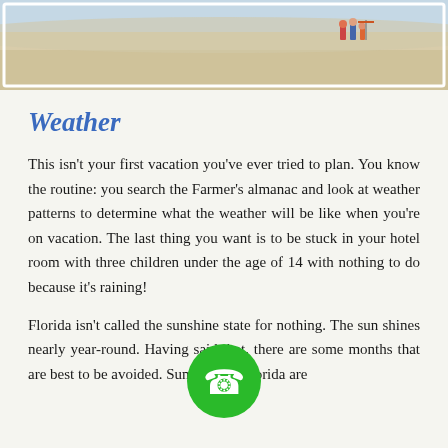[Figure (photo): Aerial or wide-angle photo of a sandy beach with what appears to be a person or small group of people with equipment in the upper right area. The beach is broad and sandy with a light sky.]
Weather
This isn't your first vacation you've ever tried to plan. You know the routine: you search the Farmer's almanac and look at weather patterns to determine what the weather will be like when you're on vacation. The last thing you want is to be stuck in your hotel room with three children under the age of 14 with nothing to do because it's raining!
Florida isn't called the sunshine state for nothing. The sun shines nearly year-round. Having said that, there are some months that are best to be avoided. Summers in Florida are
[Figure (illustration): Green circular phone/call button icon with a white telephone handset symbol in the center, overlaid on the text.]